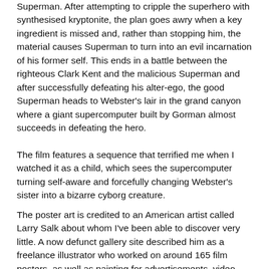Superman. After attempting to cripple the superhero with synthesised kryptonite, the plan goes awry when a key ingredient is missed and, rather than stopping him, the material causes Superman to turn into an evil incarnation of his former self. This ends in a battle between the righteous Clark Kent and the malicious Superman and after successfully defeating his alter-ego, the good Superman heads to Webster's lair in the grand canyon where a giant supercomputer built by Gorman almost succeeds in defeating the hero.
The film features a sequence that terrified me when I watched it as a child, which sees the supercomputer turning self-aware and forcefully changing Webster's sister into a bizarre cyborg creature.
The poster art is credited to an American artist called Larry Salk about whom I've been able to discover very little. A now defunct gallery site described him as a freelance illustrator who worked on around 165 film posters, as well as painting for advertisements, video game covers, record sleeves and more. IMPAwards features a few of his posters (I have his one sheet for the 3D re-release of House of Wax) and he was the artist who